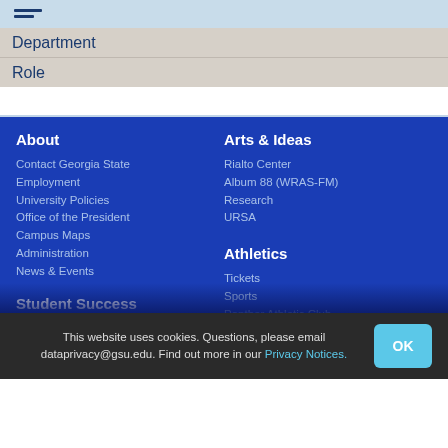Department
Role
About
Contact Georgia State
Employment
University Policies
Office of the President
Campus Maps
Administration
News & Events
Student Success
Admissions
Degrees & Majors
Arts & Ideas
Rialto Center
Album 88 (WRAS-FM)
Research
URSA
Athletics
Tickets
Sports
Panther Athletic Club
Recruits
News
This website uses cookies. Questions, please email dataprivacy@gsu.edu. Find out more in our Privacy Notices.